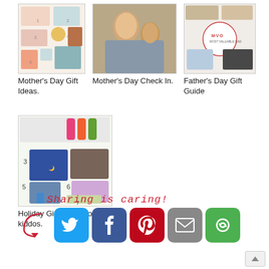[Figure (photo): Mother's Day Gift Ideas thumbnail - collage of gift items]
Mother’s Day Gift Ideas.
[Figure (photo): Mother's Day Check In thumbnail - photo of woman with child]
Mother’s Day Check In.
[Figure (photo): Father's Day Gift Guide thumbnail - collage of men's gift items]
Father’s Day Gift Guide
[Figure (photo): Holiday Gift Guide for the kiddos thumbnail - collage of children's gifts]
Holiday Gift Guide: for the kiddos.
Sharing is caring!
[Figure (infographic): Social sharing buttons: Twitter, Facebook, Pinterest, Email, Share]